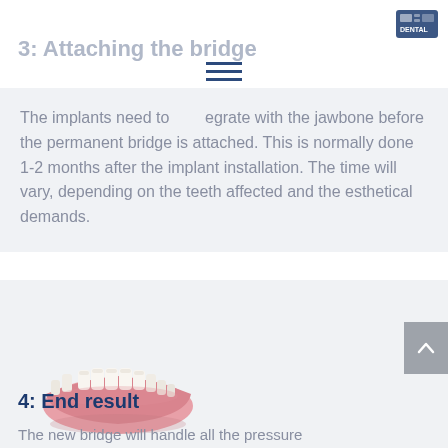[Figure (logo): Dental clinic logo in dark blue, top right corner]
3: Attaching the bridge
The implants need to integrate with the jawbone before the permanent bridge is attached. This is normally done 1-2 months after the implant installation. The time will vary, depending on the teeth affected and the esthetical demands.
[Figure (illustration): 3D illustration of a dental bridge/denture showing a lower jaw prosthesis with white teeth on a pink gum base]
4: End result
The new bridge will handle all the pressure...